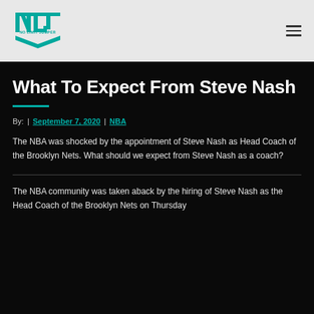[Figure (logo): No Limit Jumper logo — stylized NLJ letters in teal with 'NO LIMIT JUMPER' text below]
What To Expect From Steve Nash
By: | September 7, 2020 | NBA
The NBA was shocked by the appointment of Steve Nash as Head Coach of the Brooklyn Nets. What should we expect from Steve Nash as a coach?
The NBA community was taken aback by the hiring of Steve Nash as the Head Coach of the Brooklyn Nets on Thursday